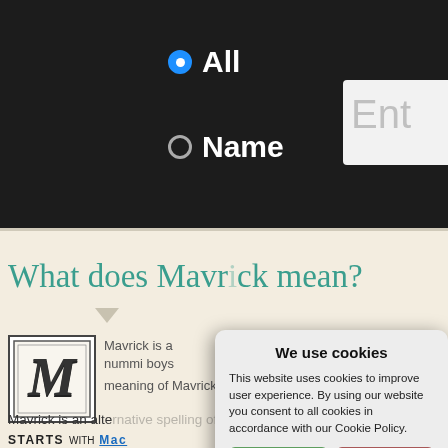[Figure (screenshot): Website screenshot showing search interface with radio buttons for 'All' and 'Name', and a partial text entry box]
What does Mavrick mean?
[Figure (illustration): Decorative ornate letter M in a bordered square]
Mavrick is an alternative spelling of Ma
STARTS WITH Mac
[Figure (screenshot): Cookie consent dialog: We use cookies. This website uses cookies to improve user experience. By using our website you consent to all cookies in accordance with our Cookie Policy. Buttons: Yes I agree, I disagree, Read more. Free cookie consent by cookie-script.com]